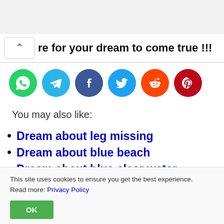re for your dream to come true !!!
[Figure (infographic): Row of six social media sharing icon circles: WhatsApp (green), Telegram (blue), Facebook (dark blue), Twitter (light blue), Reddit (orange), Pinterest (red)]
You may also like:
Dream about leg missing
Dream about blue beach
Dream about blue clear water
Dream about blue fairy
Dream about blue ladybug
This site uses cookies to ensure you get the best experience. Read more: Privacy Policy
OK